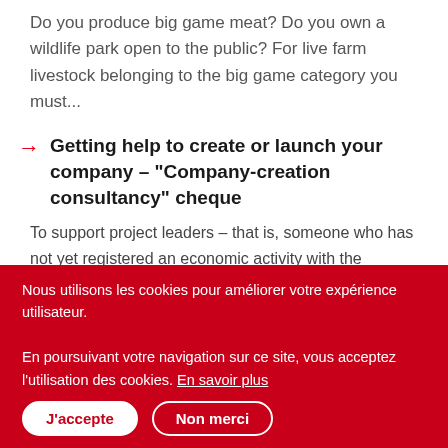Do you produce big game meat? Do you own a wildlife park open to the public? For live farm livestock belonging to the big game category you must...
Getting help to create or launch your company – "Company-creation consultancy" cheque
To support project leaders – that is, someone who has not yet registered an economic activity with the Banque Carrefour des Entreprises (BCE) – and companies with the implementation of their project
Nous utilisons les cookies pour améliorer votre expérience utilisateur.

En poursuivant votre navigation sur ce site, vous acceptez l'utilisation des cookies. En savoir plus